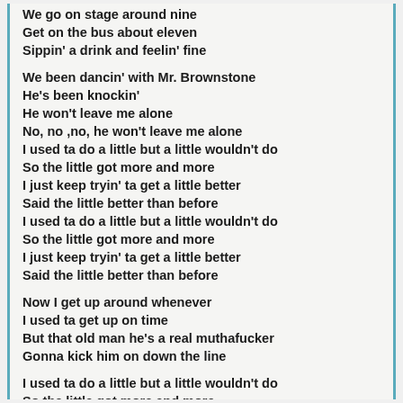We go on stage around nine
Get on the bus about eleven
Sippin' a drink and feelin' fine

We been dancin' with Mr. Brownstone
He's been knockin'
He won't leave me alone
No, no ,no, he won't leave me alone
I used ta do a little but a little wouldn't do
So the little got more and more
I just keep tryin' ta get a little better
Said the little better than before
I used ta do a little but a little wouldn't do
So the little got more and more
I just keep tryin' ta get a little better
Said the little better than before

Now I get up around whenever
I used ta get up on time
But that old man he's a real muthafucker
Gonna kick him on down the line

I used ta do a little but a little wouldn't do
So the little got more and more
I just keep tryin' ta get a little better
Said the little better than before